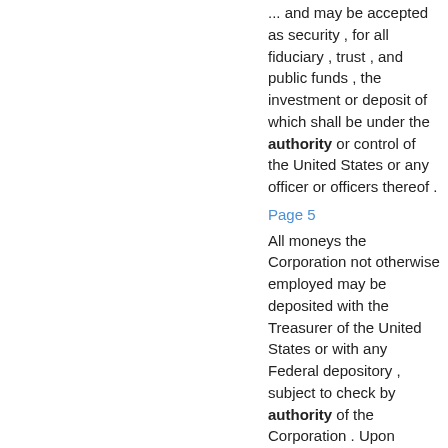... and may be accepted as security , for all fiduciary , trust , and public funds , the investment or deposit of which shall be under the authority or control of the United States or any officer or officers thereof .
Page 5
All moneys the Corporation not otherwise employed may be deposited with the Treasurer of the United States or with any Federal depository , subject to check by authority of the Corporation . Upon request of the Corporation , Federal ...